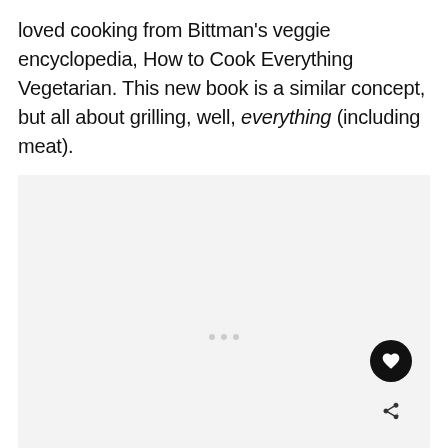loved cooking from Bittman's veggie encyclopedia, How to Cook Everything Vegetarian. This new book is a similar concept, but all about grilling, well, everything (including meat).
[Figure (photo): A light gray placeholder image area with navigation dots and action buttons (heart and share) overlaid.]